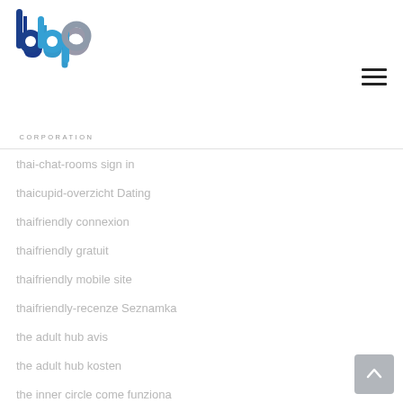[Figure (logo): BBP Corporation logo with blue and grey stylized letters 'bbp' and 'CORPORATION' text below]
thai-chat-rooms sign in
thaicupid-overzicht Dating
thaifriendly connexion
thaifriendly gratuit
thaifriendly mobile site
thaifriendly-recenze Seznamka
the adult hub avis
the adult hub kosten
the inner circle come funziona
the inner circle dating